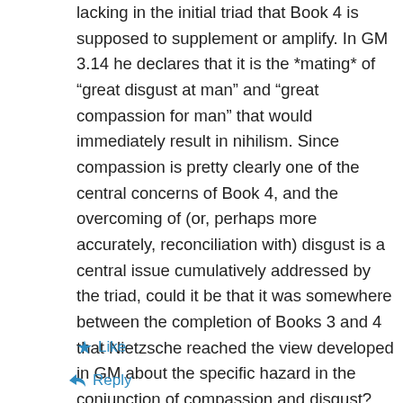lacking in the initial triad that Book 4 is supposed to supplement or amplify. In GM 3.14 he declares that it is the *mating* of “great disgust at man” and “great compassion for man” that would immediately result in nihilism. Since compassion is pretty clearly one of the central concerns of Book 4, and the overcoming of (or, perhaps more accurately, reconciliation with) disgust is a central issue cumulatively addressed by the triad, could it be that it was somewhere between the completion of Books 3 and 4 that Nietzsche reached the view developed in GM about the specific hazard in the conjunction of compassion and disgust? Just thinking aloud.
Like
Reply